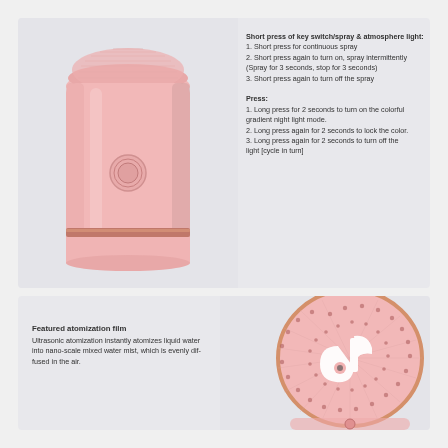[Figure (photo): Close-up photo of a pink cylindrical ultrasonic humidifier/diffuser showing the body with a circular button and a rose gold ring accent strip around the middle.]
Short press of key switch/spray & atmosphere light:
1. Short press for continuous spray
2. Short press again to turn on, spray intermittently (Spray for 3 seconds, stop for 3 seconds)
3. Short press again to turn off the spray

Press:
1. Long press for 2 seconds to turn on the colorful gradient night light mode.
2. Long press again for 2 seconds to lock the color.
3. Long press again for 2 seconds to turn off the light [cycle in turn]
Featured atomization film
Ultrasonic atomization instantly atomizes liquid water into nano-scale mixed water mist, which is evenly diffused in the air.
[Figure (photo): Top-down view of the pink humidifier showing the perforated top surface with a TikTok-logo shaped white design and a central mist nozzle hole. The bottom of the device is partially visible showing the button.]